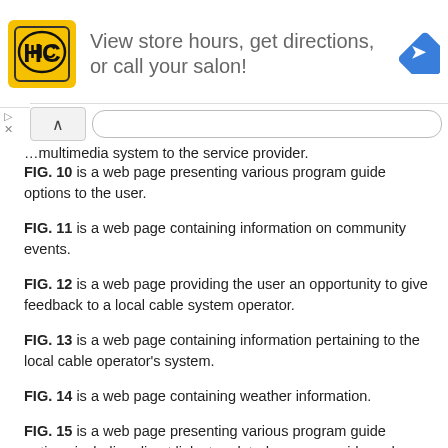[Figure (other): Advertisement banner for Hair Club salon with logo, text 'View store hours, get directions, or call your salon!', and a blue map direction icon]
multimedia system to the service provider.
FIG. 10 is a web page presenting various program guide options to the user.
FIG. 11 is a web page containing information on community events.
FIG. 12 is a web page providing the user an opportunity to give feedback to a local cable system operator.
FIG. 13 is a web page containing information pertaining to the local cable operator's system.
FIG. 14 is a web page containing weather information.
FIG. 15 is a web page presenting various program guide options including direct links to related program guide and movie guide television channels.
FIG. 16 is a web page containing television program guide listings organized by time.
FIG. 17 is a web page containing information on local cable television channels.